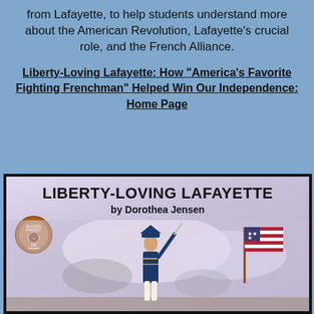from Lafayette, to help students understand more about the American Revolution, Lafayette's crucial role, and the French Alliance.
Liberty-Loving Lafayette: How "America's Favorite Fighting Frenchman" Helped Win Our Independence: Home Page
[Figure (illustration): Book cover of 'Liberty-Loving Lafayette by Dorothea Jensen' showing a Revolutionary War soldier on horseback with sword raised and an American flag in the background, with a Readers Favorite award badge in the lower left.]